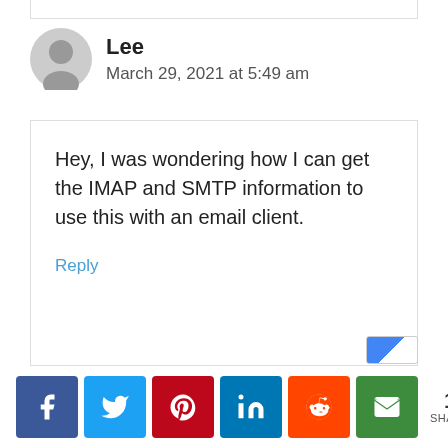Lee
March 29, 2021 at 5:49 am
Hey, I was wondering how I can get the IMAP and SMTP information to use this with an email client.
Reply